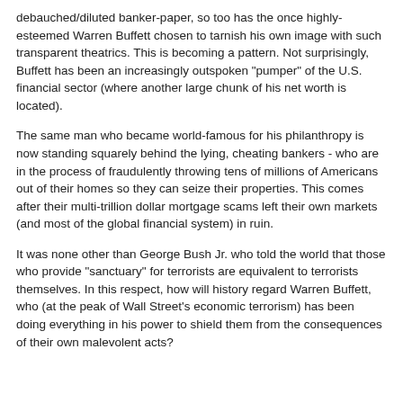debauched/diluted banker-paper, so too has the once highly-esteemed Warren Buffett chosen to tarnish his own image with such transparent theatrics. This is becoming a pattern. Not surprisingly, Buffett has been an increasingly outspoken "pumper" of the U.S. financial sector (where another large chunk of his net worth is located).
The same man who became world-famous for his philanthropy is now standing squarely behind the lying, cheating bankers - who are in the process of fraudulently throwing tens of millions of Americans out of their homes so they can seize their properties. This comes after their multi-trillion dollar mortgage scams left their own markets (and most of the global financial system) in ruin.
It was none other than George Bush Jr. who told the world that those who provide "sanctuary" for terrorists are equivalent to terrorists themselves. In this respect, how will history regard Warren Buffett, who (at the peak of Wall Street's economic terrorism) has been doing everything in his power to shield them from the consequences of their own malevolent acts?